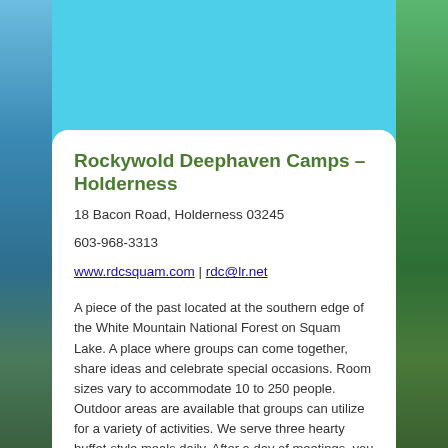[Figure (photo): Outdoor lake and forest scene with sky, water on left side and green trees on right side forming a scenic background]
Rockywold Deephaven Camps – Holderness
18 Bacon Road, Holderness 03245
603-968-3313
www.rdcsquam.com | rdc@lr.net
A piece of the past located at the southern edge of the White Mountain National Forest on Squam Lake. A place where groups can come together, share ideas and celebrate special occasions. Room sizes vary to accommodate 10 to 250 people. Outdoor areas are available that groups can utilize for a variety of activities. We serve three hearty buffet-style meals daily. After a day of meetings, you may enjoy tennis, swimming, boating, or